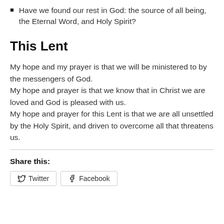Have we found our rest in God: the source of all being, the Eternal Word, and Holy Spirit?
This Lent
My hope and my prayer is that we will be ministered to by the messengers of God.
My hope and prayer is that we know that in Christ we are loved and God is pleased with us.
My hope and prayer for this Lent is that we are all unsettled by the Holy Spirit, and driven to overcome all that threatens us.
Share this:
Twitter   Facebook